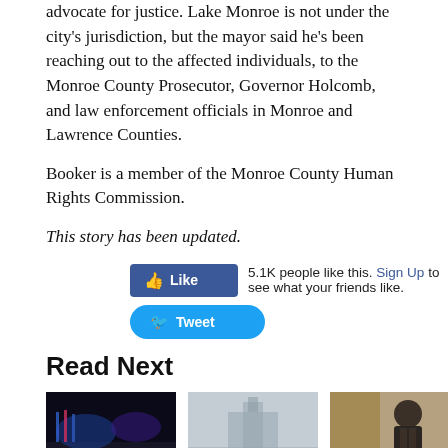advocate for justice. Lake Monroe is not under the city's jurisdiction, but the mayor said he's been reaching out to the affected individuals, to the Monroe County Prosecutor, Governor Holcomb, and law enforcement officials in Monroe and Lawrence Counties.
Booker is a member of the Monroe County Human Rights Commission.
This story has been updated.
[Figure (infographic): Facebook Like button (blue, with thumbs up icon) showing '5.1K people like this. Sign Up to see what your friends like.' and a Twitter Tweet button (blue, rounded, with bird icon)]
Read Next
[Figure (photo): Night street scene with blue and red police lights]
[Figure (photo): Foggy grey outdoor scene with structure visible]
[Figure (photo): Man in suit walking in corridor]